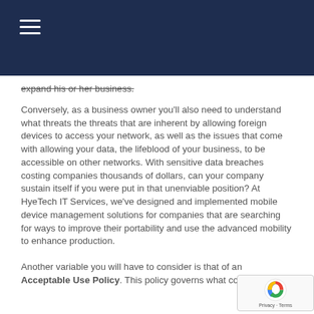≡
expand his or her business.
Conversely, as a business owner you'll also need to understand what threats the threats that are inherent by allowing foreign devices to access your network, as well as the issues that come with allowing your data, the lifeblood of your business, to be accessible on other networks. With sensitive data breaches costing companies thousands of dollars, can your company sustain itself if you were put in that unenviable position? At HyeTech IT Services, we've designed and implemented mobile device management solutions for companies that are searching for ways to improve their portability and use the advanced mobility to enhance production.
Another variable you will have to consider is that of an Acceptable Use Policy. This policy governs what content